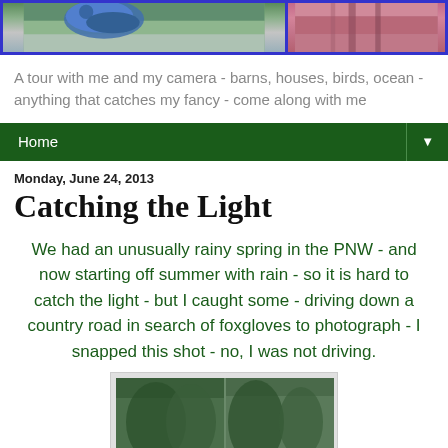[Figure (photo): Header banner with two bird/nature photos side by side with blue border]
A tour with me and my camera - barns, houses, birds, ocean - anything that catches my fancy - come along with me
Home ▼
Monday, June 24, 2013
Catching the Light
We had an unusually rainy spring in the PNW - and now starting off summer with rain - so it is hard to catch the light - but I caught some - driving down a country road in search of foxgloves to photograph - I snapped this shot - no, I was not driving.
[Figure (photo): Photograph of tall evergreen trees along a country road, viewed from a vehicle window]